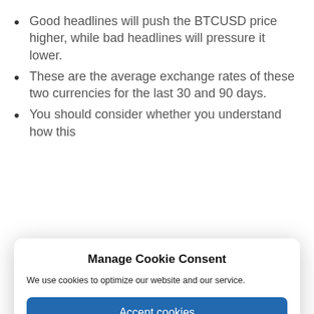Good headlines will push the BTCUSD price higher, while bad headlines will pressure it lower.
These are the average exchange rates of these two currencies for the last 30 and 90 days.
You should consider whether you understand how this
Manage Cookie Consent
We use cookies to optimize our website and our service.
Accept cookies
Deny
View preferences
Cookie Policy   Privacy Statement